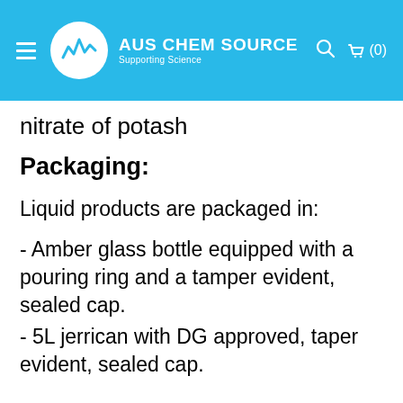AUS CHEM SOURCE — Supporting Science
nitrate of potash
Packaging:
Liquid products are packaged in:
- Amber glass bottle equipped with a pouring ring and a tamper evident, sealed cap.
- 5L jerrican with DG approved, taper evident, sealed cap.